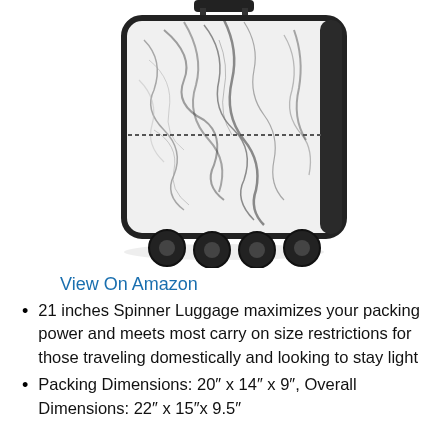[Figure (photo): A white marble-patterned hardshell spinner luggage with four black wheels and black trim/handle, photographed against a white background.]
View On Amazon
21 inches Spinner Luggage maximizes your packing power and meets most carry on size restrictions for those traveling domestically and looking to stay light
Packing Dimensions: 20″ x 14″ x 9″, Overall Dimensions: 22″ x 15″x 9.5″